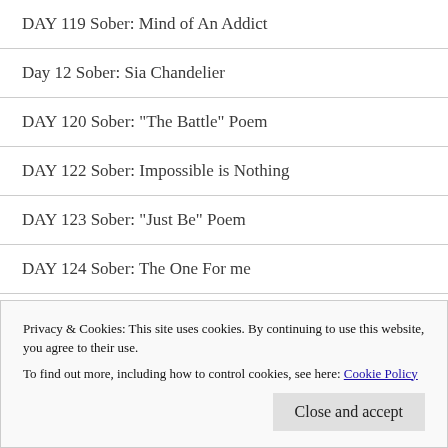DAY 119 Sober: Mind of An Addict
Day 12 Sober: Sia Chandelier
DAY 120 Sober: "The Battle" Poem
DAY 122 Sober: Impossible is Nothing
DAY 123 Sober: "Just Be" Poem
DAY 124 Sober: The One For me
Day 126 Sober: "Clean" poem
Privacy & Cookies: This site uses cookies. By continuing to use this website, you agree to their use. To find out more, including how to control cookies, see here: Cookie Policy
Close and accept